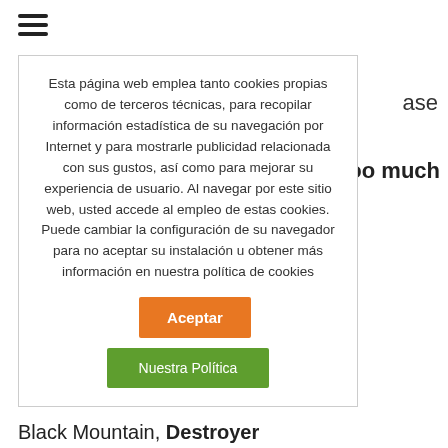[Figure (other): Hamburger menu icon (three horizontal lines)]
ase
rd, Too much
Esta página web emplea tanto cookies propias como de terceros técnicas, para recopilar información estadística de su navegación por Internet y para mostrarle publicidad relacionada con sus gustos, así como para mejorar su experiencia de usuario. Al navegar por este sitio web, usted accede al empleo de estas cookies. Puede cambiar la configuración de su navegador para no aceptar su instalación u obtener más información en nuestra política de cookies
Aceptar
Nuestra Política
Black Mountain, Destroyer